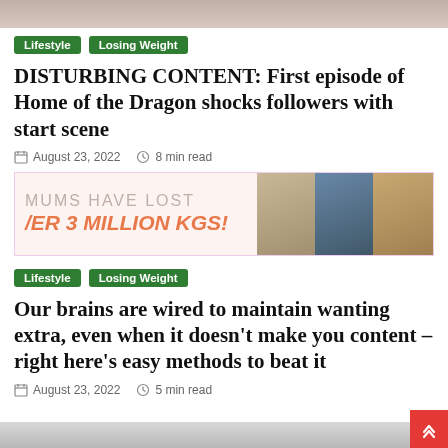[Figure (photo): Cropped top image, partially visible at the very top of the page]
Lifestyle | Losing Weight
DISTURBING CONTENT: First episode of Home of the Dragon shocks followers with start scene
August 23, 2022   8 min read
[Figure (infographic): Advertisement banner: MUMS HAVE LOST /ER 3 MILLION KGS! with before/after photos]
Lifestyle | Losing Weight
Our brains are wired to maintain wanting extra, even when it doesn't make you content – right here's easy methods to beat it
August 23, 2022   5 min read
[Figure (photo): Partially visible image at the bottom of the page]